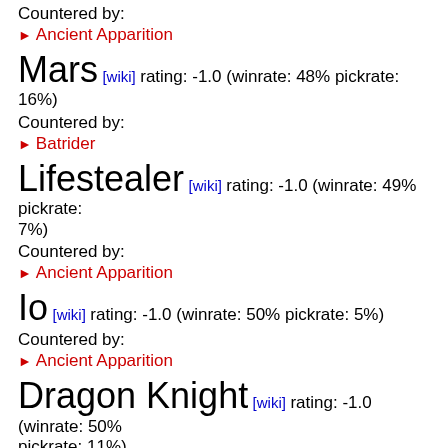Countered by:
▶ Ancient Apparition
Mars [wiki] rating: -1.0 (winrate: 48% pickrate: 16%)
Countered by:
▶ Batrider
Lifestealer [wiki] rating: -1.0 (winrate: 49% pickrate: 7%)
Countered by:
▶ Ancient Apparition
Io [wiki] rating: -1.0 (winrate: 50% pickrate: 5%)
Countered by:
▶ Ancient Apparition
Dragon Knight [wiki] rating: -1.0 (winrate: 50% pickrate: 11%)
Countered by:
▶ Ancient Apparition
Alchemist [wiki] rating: -1.0 (winrate: 50% pickrate: